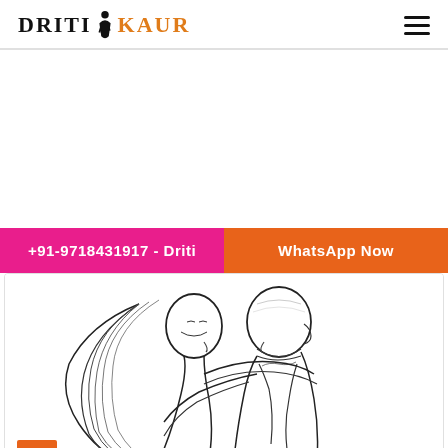DRITI KAUR
+91-9718431917 - Driti
WhatsApp Now
[Figure (illustration): Line drawing illustration of a couple embracing and about to kiss, with watermark text 'http://www.dritikaur.in/' and an orange badge showing '35' at the bottom left.]